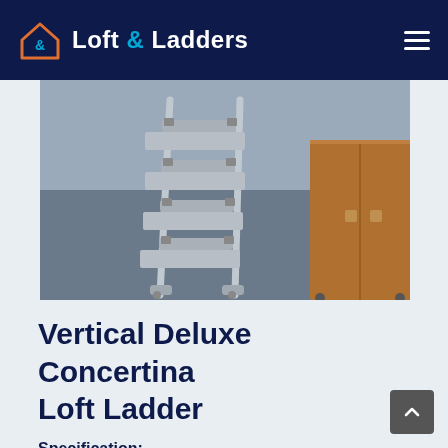Loft & Ladders
[Figure (photo): A silver aluminium concertina loft ladder standing on a grey floor, with a wooden cabinet visible in the background to the right.]
Vertical Deluxe Concertina Loft Ladder
Specification: